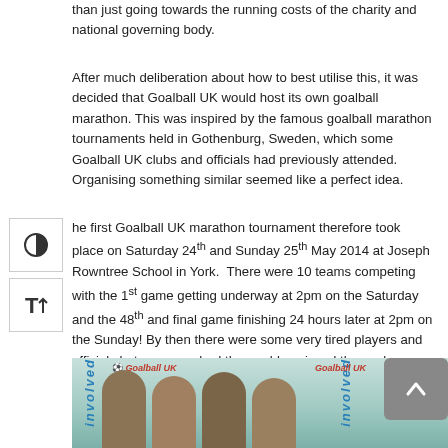than just going towards the running costs of the charity and national governing body.
After much deliberation about how to best utilise this, it was decided that Goalball UK would host its own goalball marathon. This was inspired by the famous goalball marathon tournaments held in Gothenburg, Sweden, which some Goalball UK clubs and officials had previously attended. Organising something similar seemed like a perfect idea.
The first Goalball UK marathon tournament therefore took place on Saturday 24th and Sunday 25th May 2014 at Joseph Rowntree School in York.  There were 10 teams competing with the 1st game getting underway at 2pm on the Saturday and the 48th and final game finishing 24 hours later at 2pm on the Sunday! By then there were some very tired players and officials but everyone had thoroughly enjoyed themselves.
[Figure (photo): Photo of people at a Goalball UK event, with banners reading 'Goalball UK' and 'involved', and a scroll-to-top button overlay]